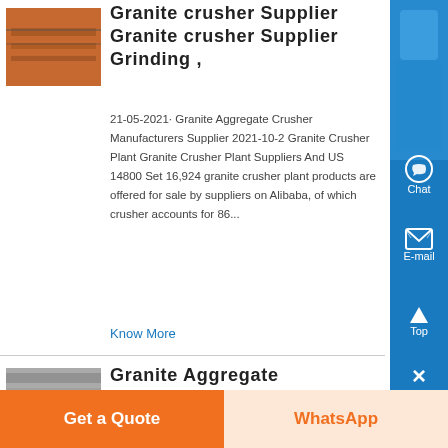[Figure (photo): Photo of granite crusher/stone surface with orange/brown tones]
Granite crusher Supplier Granite crusher Supplier Grinding ,
21-05-2021· Granite Aggregate Crusher Manufacturers Supplier 2021-10-2 Granite Crusher Plant Granite Crusher Plant Suppliers And US 14800 Set 16,924 granite crusher plant products are offered for sale by suppliers on Alibaba, of which crusher accounts for 86...
Know More
[Figure (photo): Photo of granite aggregate material]
Granite Aggregate